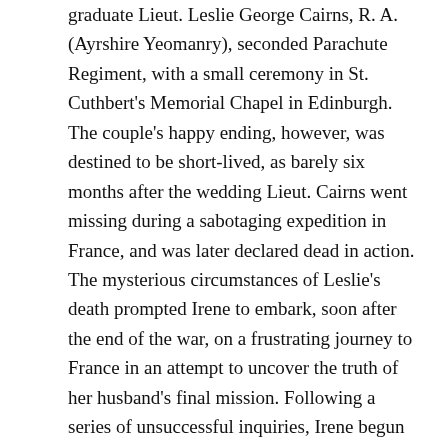graduate Lieut. Leslie George Cairns, R. A. (Ayrshire Yeomanry), seconded Parachute Regiment, with a small ceremony in St. Cuthbert's Memorial Chapel in Edinburgh. The couple's happy ending, however, was destined to be short-lived, as barely six months after the wedding Lieut. Cairns went missing during a sabotaging expedition in France, and was later declared dead in action. The mysterious circumstances of Leslie's death prompted Irene to embark, soon after the end of the war, on a frustrating journey to France in an attempt to uncover the truth of her husband's final mission. Following a series of unsuccessful inquiries, Irene begun making plans to permanently leave Britain, eventually moving to South Africa in 1947.
Abroad, Irene worked as a bookseller and a lecturer. During her time in South Africa, she made the acquaintance of Reginald Brown, a British war veteran